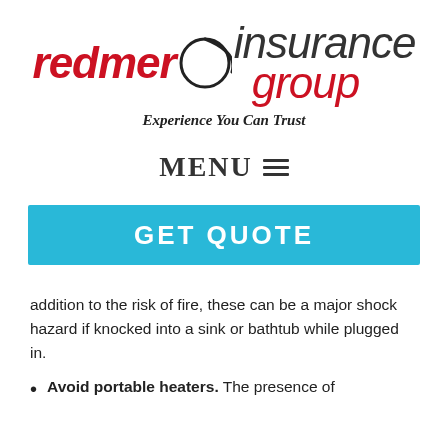[Figure (logo): Redmer Insurance Group logo with circular swoosh, red italic 'redmer', black italic 'insurance group', and tagline 'Experience You Can Trust']
MENU ☰
GET QUOTE
addition to the risk of fire, these can be a major shock hazard if knocked into a sink or bathtub while plugged in.
Avoid portable heaters. The presence of